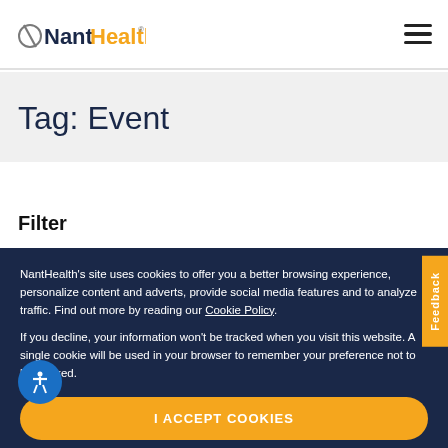NantHealth
Tag: Event
Filter
NantHealth's site uses cookies to offer you a better browsing experience, personalize content and adverts, provide social media features and to analyze traffic. Find out more by reading our Cookie Policy.
If you decline, your information won't be tracked when you visit this website. A single cookie will be used in your browser to remember your preference not to be tracked.